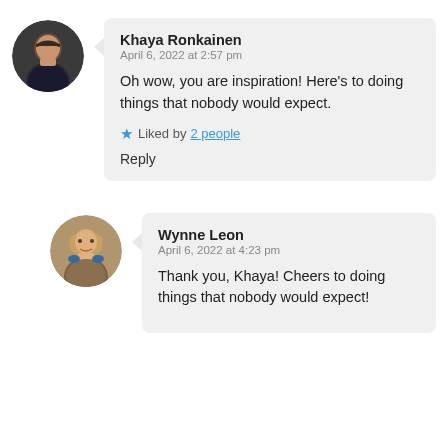[Figure (photo): Circular avatar photo of Khaya Ronkainen, a woman with dark hair against a dark background]
Khaya Ronkainen
April 6, 2022 at 2:57 pm

Oh wow, you are inspiration! Here's to doing things that nobody would expect.

★ Liked by 2 people

Reply
[Figure (photo): Circular avatar photo of Wynne Leon, a blonde woman smiling]
Wynne Leon
April 6, 2022 at 4:23 pm

Thank you, Khaya! Cheers to doing things that nobody would expect!